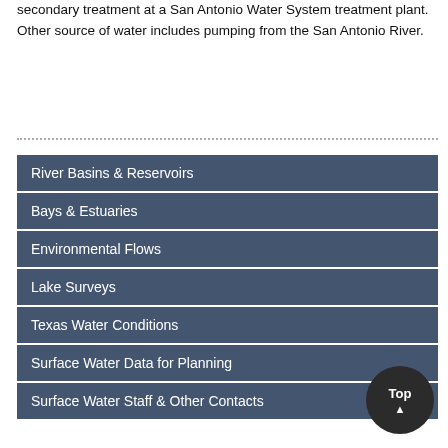secondary treatment at a San Antonio Water System treatment plant. Other source of water includes pumping from the San Antonio River.
River Basins & Reservoirs
Bays & Estuaries
Environmental Flows
Lake Surveys
Texas Water Conditions
Surface Water Data for Planning
Surface Water Staff & Other Contacts